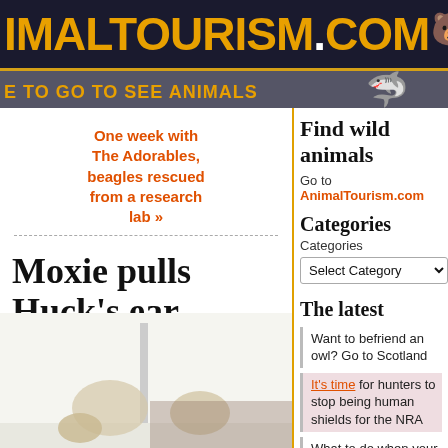IMALTOURISM.COM
E TO GO TO SEE ANIMALS
One week with The Adorables, beagles rescued from a research lab »
Moxie pulls Huck's ear
[Figure (photo): Photo of dogs, one pulling the other's ear, light background]
Find wild animals
Go to AnimalTourism.com
Categories
Categories
Select Category
The latest
Want to befriend an owl? Go to Scotland
It's time for hunters to stop being human shields for the NRA
What to do when your praying mantis egg case hatches early